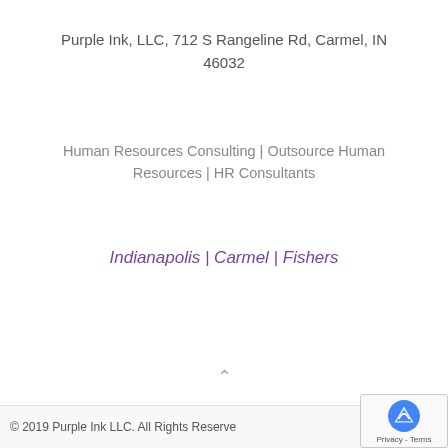Purple Ink, LLC, 712 S Rangeline Rd, Carmel, IN 46032
Human Resources Consulting | Outsource Human Resources | HR Consultants
Indianapolis | Carmel | Fishers
© 2019 Purple Ink LLC. All Rights Reserved